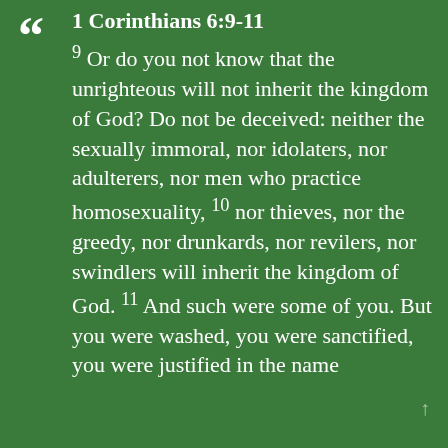1 Corinthians 6:9-11
9 Or do you not know that the unrighteous will not inherit the kingdom of God? Do not be deceived: neither the sexually immoral, nor idolaters, nor adulterers, nor men who practice homosexuality, 10 nor thieves, nor the greedy, nor drunkards, nor revilers, nor swindlers will inherit the kingdom of God. 11 And such were some of you. But you were washed, you were sanctified, you were justified in the name